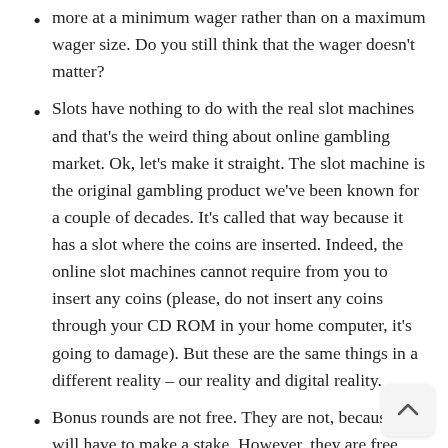more at a minimum wager rather than on a maximum wager size. Do you still think that the wager doesn't matter?
Slots have nothing to do with the real slot machines and that's the weird thing about online gambling market. Ok, let's make it straight. The slot machine is the original gambling product we've been known for a couple of decades. It's called that way because it has a slot where the coins are inserted. Indeed, the online slot machines cannot require from you to insert any coins (please, do not insert any coins through your CD ROM in your home computer, it's going to damage). But these are the same things in a different reality – our reality and digital reality.
Bonus rounds are not free. They are not, because you will have to make a stake. However, they are free, because without existing, they would leave you with fewer levels at your disposal, which also means with fewer chances for a win. The thing is that in gambling nothing is free. Don't forget that even the